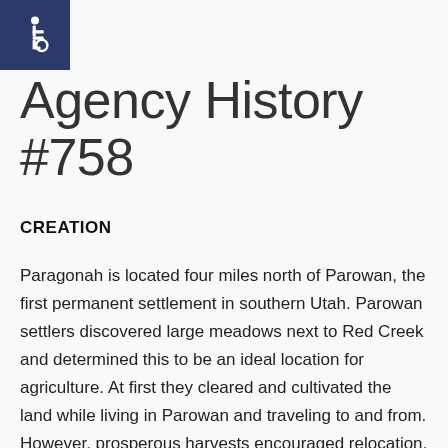[Figure (logo): Accessibility wheelchair icon on dark navy blue square background]
Agency History #758
CREATION
Paragonah is located four miles north of Parowan, the first permanent settlement in southern Utah. Parowan settlers discovered large meadows next to Red Creek and determined this to be an ideal location for agriculture. At first they cleared and cultivated the land while living in Parowan and traveling to and from. However, prosperous harvests encouraged relocation. By 1852 at least seven Parowan families had relocated in Paragonah. Early settlers called the new settlement Red Creek. Piute Indians gave this place the name